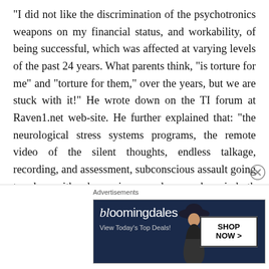“I did not like the discrimination of the psychotronics weapons on my financial status, and workability, of being successful, which was affected at varying levels of the past 24 years. What parents think, “is torture for me” and “torture for them,” over the years, but we are stuck with it!” He wrote down on the TI forum at Raven1.net web-site. He further explained that: “the neurological stress systems programs, the remote video of the silent thoughts, endless talkage, recording, and assessment, subconscious assault going too deep with subconscious murder, sex abuse in both extremities, loss of marital status, rights to have children, loss of constitutional rights, leaving us alone in the dark, with no
Advertisements
[Figure (other): Bloomingdale's advertisement banner with text 'bloomingdales', 'View Today’s Top Deals!' and a 'SHOP NOW >' button, featuring a woman in a wide-brim hat on a dark blue background.]